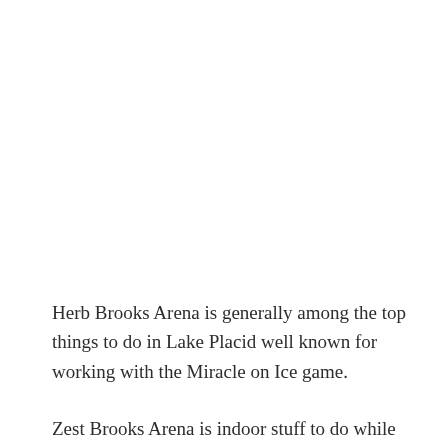Herb Brooks Arena is generally among the top things to do in Lake Placid well known for working with the Miracle on Ice game.
Zest Brooks Arena is indoor stuff to do while it's